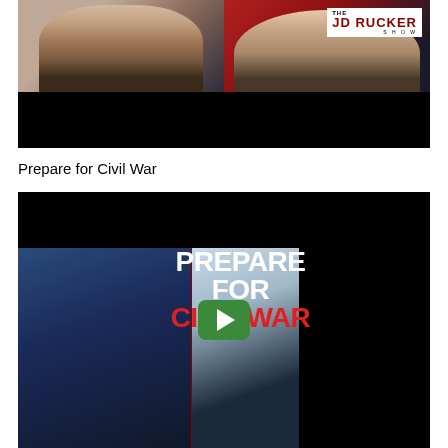[Figure (screenshot): Video thumbnail for JD Rucker Show featuring two people, with 'THE JD RUCKER SHOW' logo overlay on red background, bottom portion black]
Prepare for Civil War
[Figure (screenshot): Video thumbnail showing two people with large white bold text 'PREPARE FOR' and red text 'CIVIL WAR' overlaid, with green YouTube play button in center]